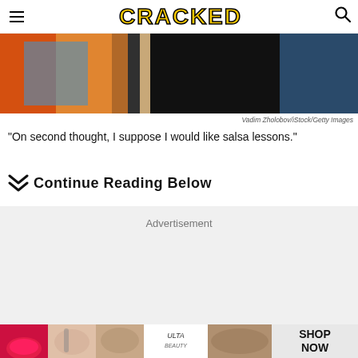CRACKED
[Figure (photo): Partial view of a person against colorful background (blue, orange, dark)]
Vadim Zholobov/iStock/Getty Images
"On second thought, I suppose I would like salsa lessons."
Continue Reading Below
[Figure (other): Advertisement placeholder area with gray background]
[Figure (other): Bottom advertisement banner featuring Ulta Beauty products with SHOP NOW text]